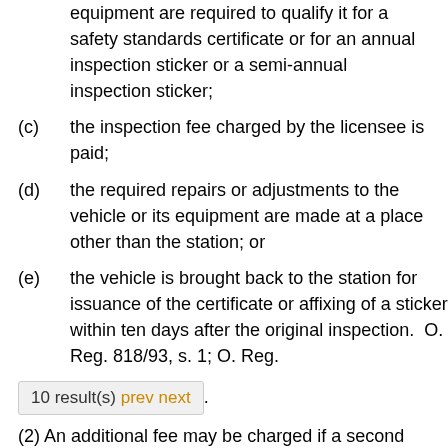equipment are required to qualify it for a safety standards certificate or for an annual inspection sticker or a semi-annual inspection sticker;
(c)  the inspection fee charged by the licensee is paid;
(d)  the required repairs or adjustments to the vehicle or its equipment are made at a place other than the station; or
(e)  the vehicle is brought back to the station for issuance of the certificate or affixing of a sticker within ten days after the original inspection.  O. Reg. 818/93, s. 1; O. Reg.
10 result(s) prev next .
(2) An additional fee may be charged if a second